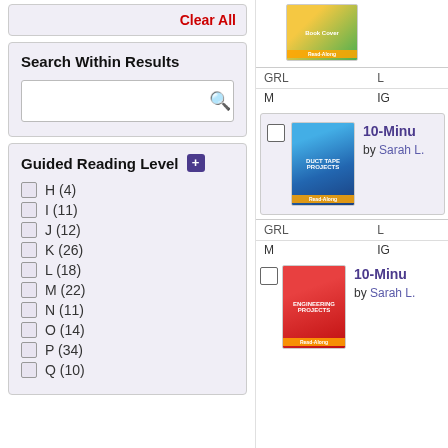Clear All
Search Within Results
Guided Reading Level
H (4)
I (11)
J (12)
K (26)
L (18)
M (22)
N (11)
O (14)
P (34)
Q (10)
[Figure (photo): Book cover - top of page (partially visible)]
| GRL | L |
| --- | --- |
| M | IG |
[Figure (photo): Book cover - 10-Minute Duct Tape Projects by Sarah L.]
10-Minu... by Sarah L.
| GRL | L |
| --- | --- |
| M | IG |
[Figure (photo): Book cover - 10-Minute Engineering Projects by Sarah L.]
10-Minu... by Sarah L.